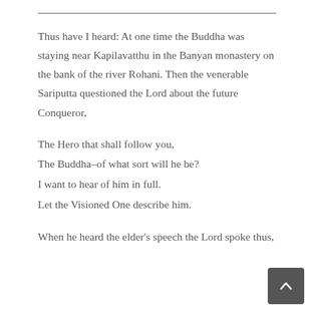Thus have I heard: At one time the Buddha was staying near Kapilavatthu in the Banyan monastery on the bank of the river Rohani. Then the venerable Sariputta questioned the Lord about the future Conqueror,
The Hero that shall follow you,
The Buddha–of what sort will he be?
I want to hear of him in full.
Let the Visioned One describe him.
When he heard the elder's speech the Lord spoke thus,